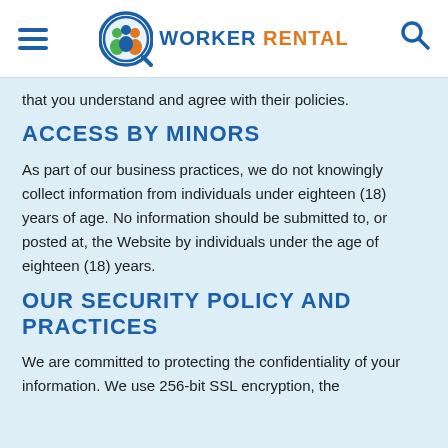WORKER RENTAL
that you understand and agree with their policies.
ACCESS BY MINORS
As part of our business practices, we do not knowingly collect information from individuals under eighteen (18) years of age. No information should be submitted to, or posted at, the Website by individuals under the age of eighteen (18) years.
OUR SECURITY POLICY AND PRACTICES
We are committed to protecting the confidentiality of your information. We use 256-bit SSL encryption, the